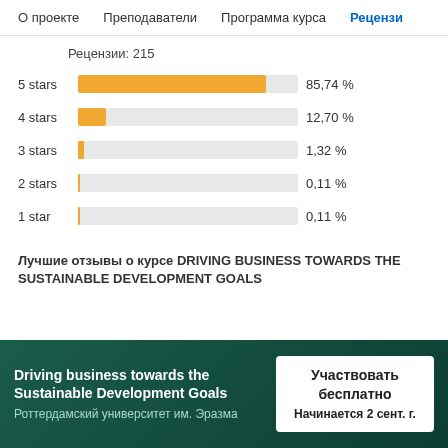О проекте   Преподаватели   Программа курса   Рецензии
Рецензии: 215
[Figure (bar-chart): Star rating distribution]
Лучшие отзывы о курсе DRIVING BUSINESS TOWARDS THE SUSTAINABLE DEVELOPMENT GOALS
Driving business towards the Sustainable Development Goals
Роттердамский университет им. Эразма
Участвовать бесплатно
Начинается 2 сент. г.